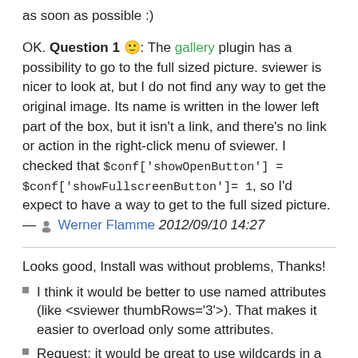as soon as possible :)
OK. Question 1 🙂: The gallery plugin has a possibility to go to the full sized picture. sviewer is nicer to look at, but I do not find any way to get the original image. Its name is written in the lower left part of the box, but it isn't a link, and there's no link or action in the right-click menu of sviewer. I checked that $conf['showOpenButton'] = $conf['showFullscreenButton']= 1, so I'd expect to have a way to get to the full sized picture. — Werner Flamme 2012/09/10 14:27
Looks good, Install was without problems, Thanks!
I think it would be better to use named attributes (like <sviewer thumbRows='3'>). That makes it easier to overload only some attributes.
Request: it would be great to use wildcards in a filename to select a subset of a namespace (gallery